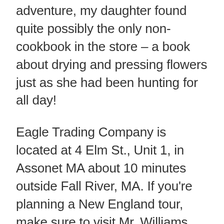adventure, my daughter found quite possibly the only non-cookbook in the store – a book about drying and pressing flowers just as she had been hunting for all day!
Eagle Trading Company is located at 4 Elm St., Unit 1, in Assonet MA about 10 minutes outside Fall River, MA. If you're planning a New England tour, make sure to visit Mr. Williams and the Eagle Trading Company. Mr. William's store has different summer and winter hours so make sure to call (508) 644-9880 for a good time to